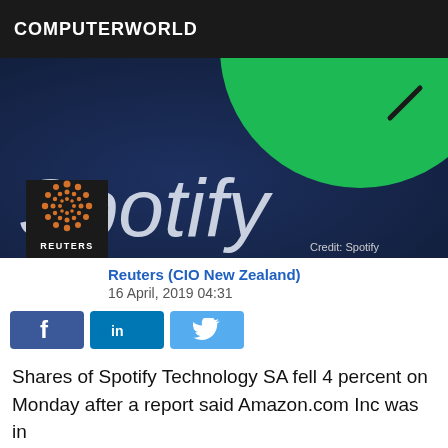COMPUTERWORLD
[Figure (photo): Spotify logo on dark blue background with green circle, 'Spotify' text in white italic. Credit: Spotify]
Credit: Spotify
Reuters (CIO New Zealand)
16 April, 2019 04:31
[Figure (logo): Reuters logo: dark background with orange dot spiral pattern and REUTERS text]
Shares of Spotify Technology SA fell 4 percent on Monday after a report said Amazon.com Inc was in